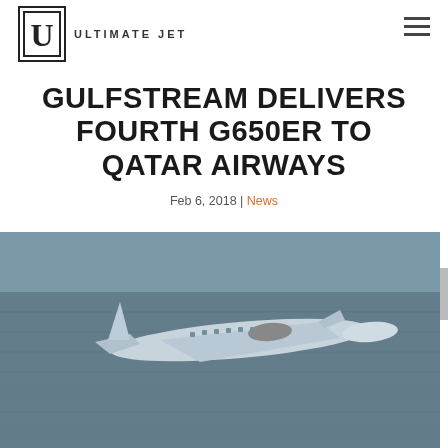[Figure (logo): Ultimate Jet logo with stylized U in a box and ULTIMATE JET text]
GULFSTREAM DELIVERS FOURTH G650ER TO QATAR AIRWAYS
Feb 6, 2018 | News
[Figure (photo): Aerial photograph of a Gulfstream G650ER business jet in flight over water]